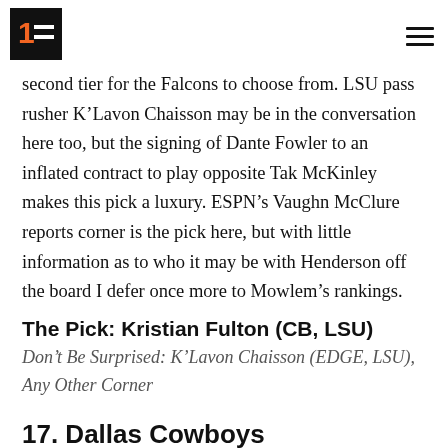1F logo and navigation
second tier for the Falcons to choose from. LSU pass rusher K’Lavon Chaisson may be in the conversation here too, but the signing of Dante Fowler to an inflated contract to play opposite Tak McKinley makes this pick a luxury. ESPN’s Vaughn McClure reports corner is the pick here, but with little information as to who it may be with Henderson off the board I defer once more to Mowlem’s rankings.
The Pick: Kristian Fulton (CB, LSU)
Don’t Be Surprised: K’Lavon Chaisson (EDGE, LSU), Any Other Corner
17. Dallas Cowboys
Imagine the scene if Tua’s slide finally ended in Dallas